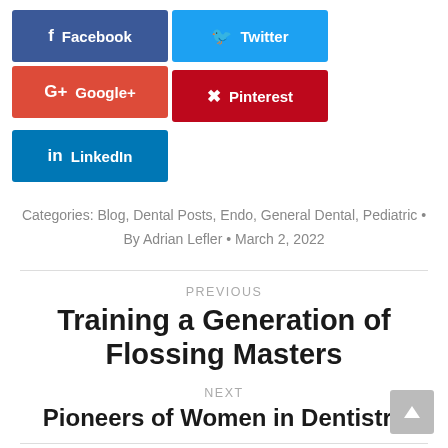[Figure (other): Social sharing buttons: Facebook, Twitter, Google+, Pinterest, LinkedIn]
Categories: Blog, Dental Posts, Endo, General Dental, Pediatric • By Adrian Lefler • March 2, 2022
PREVIOUS
Training a Generation of Flossing Masters
NEXT
Pioneers of Women in Dentistry